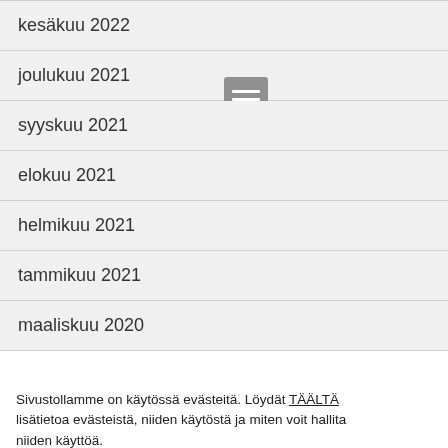kesäkuu 2022
joulukuu 2021
syyskuu 2021
elokuu 2021
helmikuu 2021
tammikuu 2021
maaliskuu 2020
Sivustollamme on käytössä evästeitä. Löydät TÄÄLTÄ lisätietoa evästeistä, niiden käytöstä ja miten voit hallita niiden käyttöä.